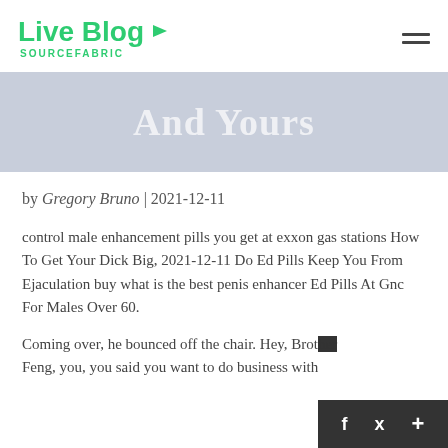Live Blog SOURCEFABRIC
[Figure (illustration): Light blue/grey banner with large white translucent text reading 'And Yours']
by Gregory Bruno | 2021-12-11
control male enhancement pills you get at exxon gas stations How To Get Your Dick Big, 2021-12-11 Do Ed Pills Keep You From Ejaculation buy what is the best penis enhancer Ed Pills At Gnc For Males Over 60.
Coming over, he bounced off the chair. Hey, Brother Feng, you, you said you want to do business with